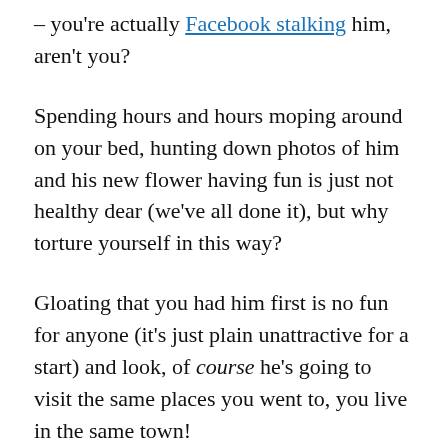– you're actually Facebook stalking him, aren't you?
Spending hours and hours moping around on your bed, hunting down photos of him and his new flower having fun is just not healthy dear (we've all done it), but why torture yourself in this way?
Gloating that you had him first is no fun for anyone (it's just plain unattractive for a start) and look, of course he's going to visit the same places you went to, you live in the same town!
Truth be told, you don't want him back, you know you don't. You just want what you can't